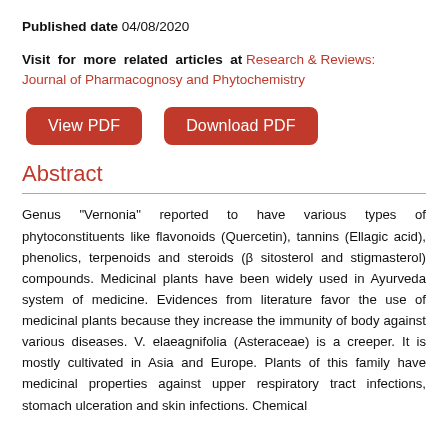Published date 04/08/2020
Visit for more related articles at Research & Reviews: Journal of Pharmacognosy and Phytochemistry
[Figure (other): Two red buttons: 'View PDF' and 'Download PDF']
Abstract
Genus "Vernonia" reported to have various types of phytoconstituents like flavonoids (Quercetin), tannins (Ellagic acid), phenolics, terpenoids and steroids (β sitosterol and stigmasterol) compounds. Medicinal plants have been widely used in Ayurveda system of medicine. Evidences from literature favor the use of medicinal plants because they increase the immunity of body against various diseases. V. elaeagnifolia (Asteraceae) is a creeper. It is mostly cultivated in Asia and Europe. Plants of this family have medicinal properties against upper respiratory tract infections, stomach ulceration and skin infections. Chemical